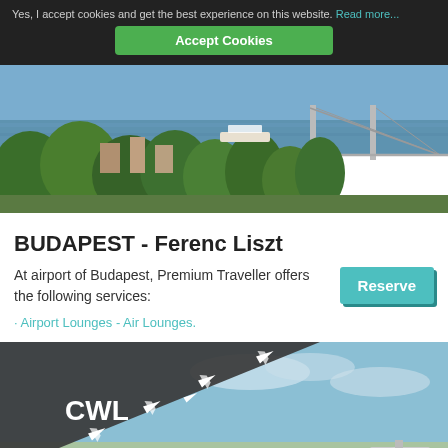Yes, I accept cookies and get the best experience on this website. Read more...
Accept Cookies
[Figure (photo): Aerial view of Budapest showing the Danube river, Chain Bridge, and greenery]
BUDAPEST - Ferenc Liszt
At airport of Budapest, Premium Traveller offers the following services:
Reserve
· Airport Lounges - Air Lounges.
[Figure (photo): Airport photo with CWL logo overlay and airplane silhouettes on dark triangular banner, blue sky background]